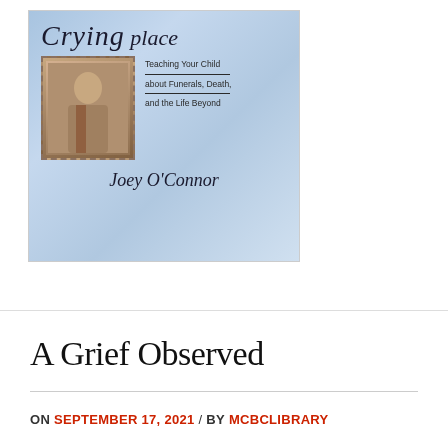[Figure (photo): Book cover of 'A Crying Place' by Joey O'Connor. Blue/light background with an inset sepia photo of a child. Subtitle reads: Teaching Your Child about Funerals, Death, and the Life Beyond.]
A Grief Observed
ON SEPTEMBER 17, 2021 / BY MCBCLIBRARY